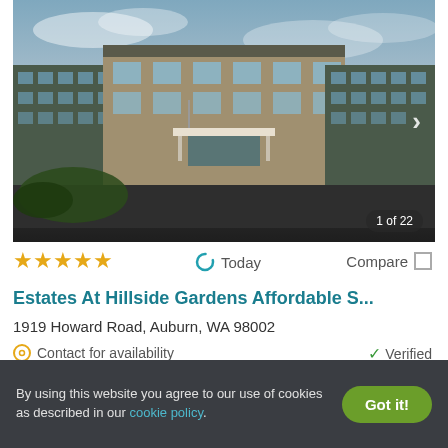[Figure (photo): Exterior photo of a modern multi-story apartment building with tan and gray siding, multiple balconies, a covered entrance, parking lot, and cloudy sky. Badge reads '1 of 22'.]
★★★★★
Today
Compare
Estates At Hillside Gardens Affordable S...
1919 Howard Road, Auburn, WA 98002
Contact for availability
Verified
Studio
By using this website you agree to our use of cookies as described in our cookie policy.